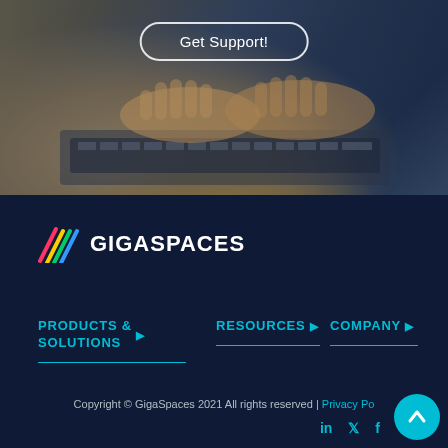[Figure (photo): Person typing on a laptop keyboard, dark blue overlay tint on the photo]
Get Support!
[Figure (logo): GigaSpaces logo with colorful diagonal stripes icon and white GIGASPACES text]
PRODUCTS & SOLUTIONS
RESOURCES
COMPANY
Copyright © GigaSpaces 2021 All rights reserved | Privacy Po...